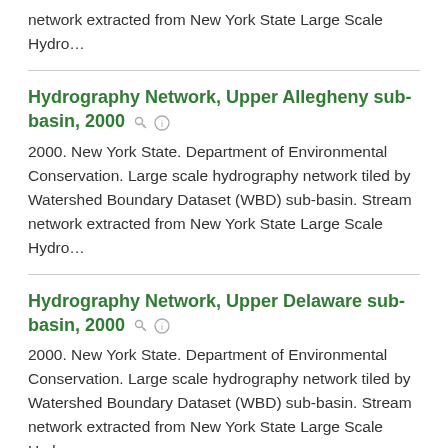network extracted from New York State Large Scale Hydro…
Hydrography Network, Upper Allegheny sub-basin, 2000
2000. New York State. Department of Environmental Conservation. Large scale hydrography network tiled by Watershed Boundary Dataset (WBD) sub-basin. Stream network extracted from New York State Large Scale Hydro…
Hydrography Network, Upper Delaware sub-basin, 2000
2000. New York State. Department of Environmental Conservation. Large scale hydrography network tiled by Watershed Boundary Dataset (WBD) sub-basin. Stream network extracted from New York State Large Scale Hydro…
Hydrography Network, Upper Genesee sub-basin, 2000